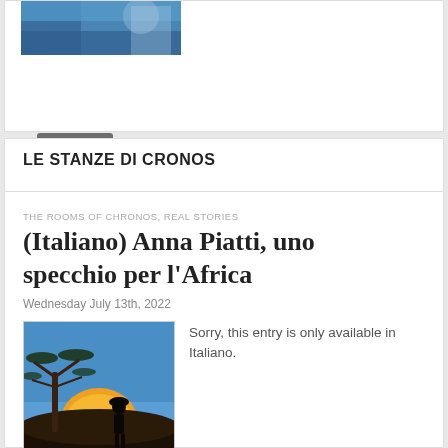[Figure (photo): Partial view of a colorful painted artwork showing blue tones and a figure, cropped at top of page]
Read more →
LE STANZE DI CRONOS
THE ROOMS OF CHRONOS, REAL STORIES
(Italiano) Anna Piatti, uno specchio per l'Africa
Wednesday July 13th, 2022
[Figure (photo): Book cover of 'La moglie del sole' showing a silhouette of a person with a basket on their head against an African sunset landscape with an acacia tree]
Sorry, this entry is only available in Italiano.